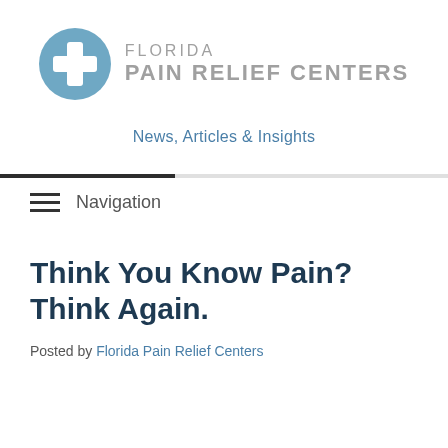[Figure (logo): Florida Pain Relief Centers logo with blue circle containing white cross and gray text]
News, Articles & Insights
Navigation
Think You Know Pain? Think Again.
Posted by Florida Pain Relief Centers